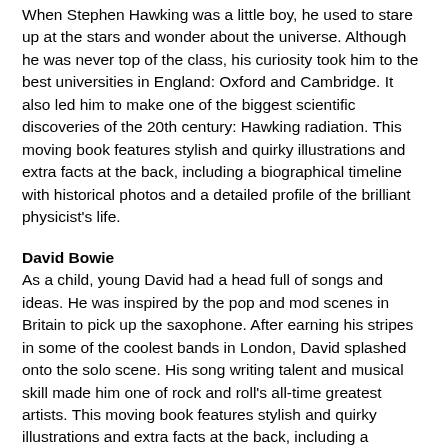When Stephen Hawking was a little boy, he used to stare up at the stars and wonder about the universe. Although he was never top of the class, his curiosity took him to the best universities in England: Oxford and Cambridge. It also led him to make one of the biggest scientific discoveries of the 20th century: Hawking radiation. This moving book features stylish and quirky illustrations and extra facts at the back, including a biographical timeline with historical photos and a detailed profile of the brilliant physicist's life.
David Bowie
As a child, young David had a head full of songs and ideas. He was inspired by the pop and mod scenes in Britain to pick up the saxophone. After earning his stripes in some of the coolest bands in London, David splashed onto the solo scene. His song writing talent and musical skill made him one of rock and roll's all-time greatest artists. This moving book features stylish and quirky illustrations and extra facts at the back, including a biographical timeline with historical photos and a detailed profile of the musician's life.